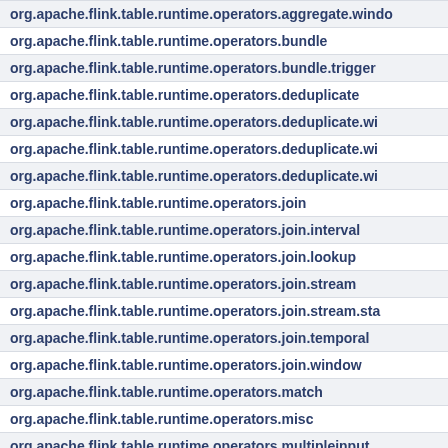| org.apache.flink.table.runtime.operators.aggregate.windo |
| org.apache.flink.table.runtime.operators.bundle |
| org.apache.flink.table.runtime.operators.bundle.trigger |
| org.apache.flink.table.runtime.operators.deduplicate |
| org.apache.flink.table.runtime.operators.deduplicate.wi |
| org.apache.flink.table.runtime.operators.deduplicate.wi |
| org.apache.flink.table.runtime.operators.deduplicate.wi |
| org.apache.flink.table.runtime.operators.join |
| org.apache.flink.table.runtime.operators.join.interval |
| org.apache.flink.table.runtime.operators.join.lookup |
| org.apache.flink.table.runtime.operators.join.stream |
| org.apache.flink.table.runtime.operators.join.stream.sta |
| org.apache.flink.table.runtime.operators.join.temporal |
| org.apache.flink.table.runtime.operators.join.window |
| org.apache.flink.table.runtime.operators.match |
| org.apache.flink.table.runtime.operators.misc |
| org.apache.flink.table.runtime.operators.multipleinput |